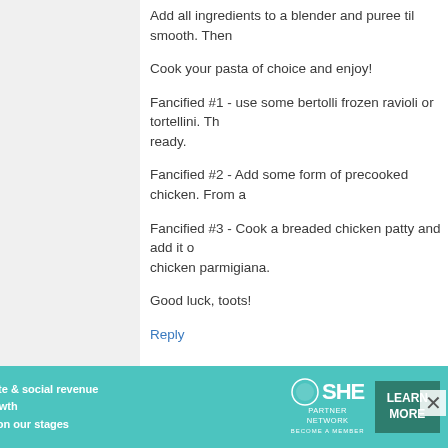Add all ingredients to a blender and puree til smooth. Then
Cook your pasta of choice and enjoy!
Fancified #1 - use some bertolli frozen ravioli or tortellini. Th ready.
Fancified #2 - Add some form of precooked chicken. From a
Fancified #3 - Cook a breaded chicken patty and add it o chicken parmigiana.
Good luck, toots!
Reply
salla  February 20, 2013 at 10:22 AM
I once had a cookbook with a recipe for mock turtle soup th
As for easy cooking... did you know that fully cooked rotis can be shredded up and used in easy recipes like chicken t
Many stores also sell fully cooked shredded pork, mashed are in the cold section near the meats in what look su
[Figure (infographic): SHE Partner Network advertisement banner with teal background, woman photo, bullet points about earning, traffic growth, speaking on stages, SHE logo, and Learn More button]